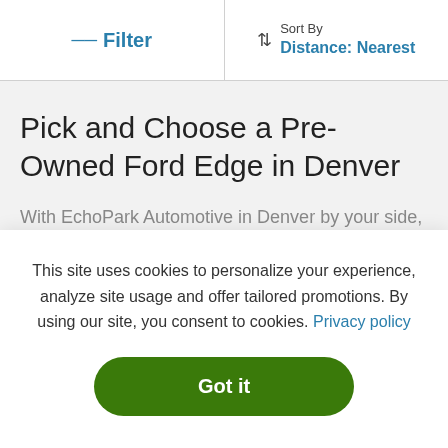Filter | Sort By Distance: Nearest
Pick and Choose a Pre-Owned Ford Edge in Denver
With EchoPark Automotive in Denver by your side, the choice is yours; sift through our used Ford Edge options and select from a quality stock that retains all you love
This site uses cookies to personalize your experience, analyze site usage and offer tailored promotions. By using our site, you consent to cookies. Privacy policy
Got it